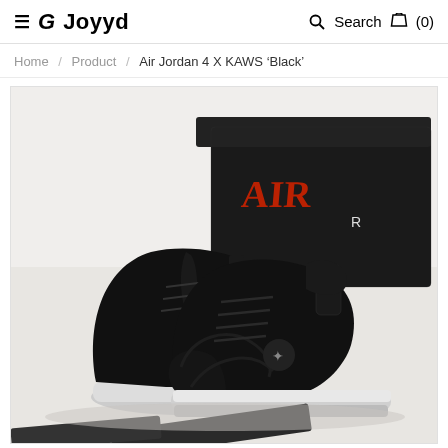≡ G Joyyd   Search (0)
Home / Product / Air Jordan 4 X KAWS 'Black'
[Figure (photo): Black Air Jordan 4 X KAWS sneakers displayed in pairs on a white surface with a dark branded shoebox in the background showing 'AIR' text in red and white. The shoes feature black suede/velvet upper with KAWS branding details and a white midsole. A dark branded item is partially visible at the bottom of the frame.]